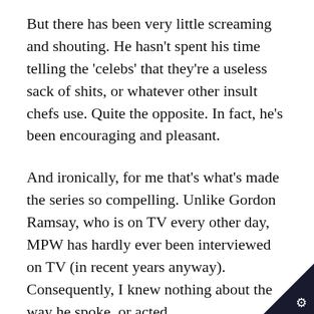But there has been very little screaming and shouting. He hasn't spent his time telling the 'celebs' that they're a useless sack of shits, or whatever other insult chefs use. Quite the opposite. In fact, he's been encouraging and pleasant.
And ironically, for me that's what's made the series so compelling. Unlike Gordon Ramsay, who is on TV every other day, MPW has hardly ever been interviewed on TV (in recent years anyway). Consequently, I knew nothing about the way he spoke, or acted.
And all the fireworks (and headlines that produce ratings) that Gordon Ramsay brou...
[Figure (logo): Black triangle corner badge with a white gear/cog icon]